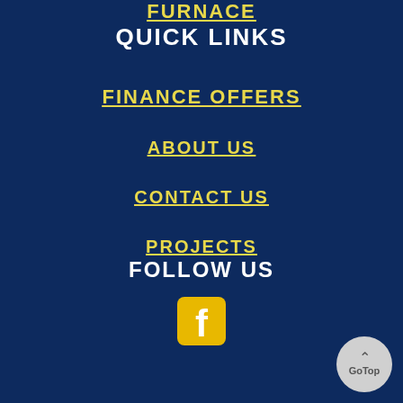FURNACE
QUICK LINKS
FINANCE OFFERS
ABOUT US
CONTACT US
PROJECTS
FOLLOW US
[Figure (logo): Facebook logo icon in yellow/gold square with rounded corners, displaying white letter f]
[Figure (other): GoTop button — circular grey button with up-arrow chevron and text 'GoTop']